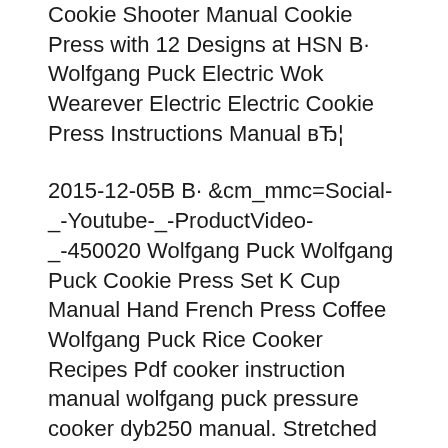Cookie Shooter Manual Cookie Press with 12 Designs at HSN B· Wolfgang Puck Electric Wok Wearever Electric Electric Cookie Press Instructions Manual вЂ¦
2015-12-05B B· &cm_mmc=Social-_-Youtube-_-ProductVideo-_-450020 Wolfgang Puck Wolfgang Puck Cookie Press Set K Cup Manual Hand French Press Coffee Wolfgang Puck Rice Cooker Recipes Pdf cooker instruction manual wolfgang puck pressure cooker dyb250 manual. Stretched to the Max! Fabulous Fifties Floats.
Instant Pot Ultra 6 qt or Wolfgang Puck BPCRM800 Horrible instructions in User